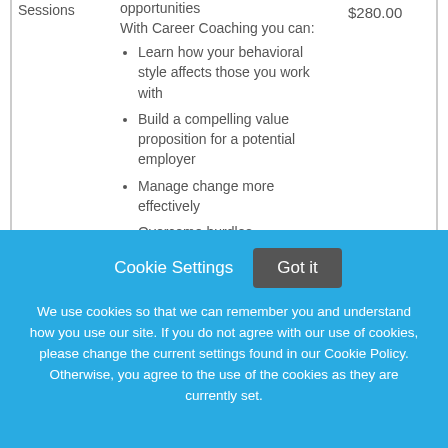| Sessions | Description | Price |
| --- | --- | --- |
| Sessions | opportunities
With Career Coaching you can:
• Learn how your behavioral style affects those you work with
• Build a compelling value proposition for a potential employer
• Manage change more effectively
• Overcome hurdles | $280.00 |
Cookie Settings
Got it
We use cookies so that we can remember you and understand how you use our site. If you do not agree with our use of cookies, please change the current settings found in our Cookie Policy. Otherwise, you agree to the use of the cookies as they are currently set.